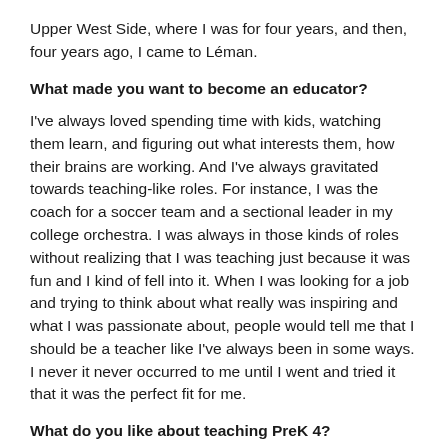Upper West Side, where I was for four years, and then, four years ago, I came to Léman.
What made you want to become an educator?
I've always loved spending time with kids, watching them learn, and figuring out what interests them, how their brains are working. And I've always gravitated towards teaching-like roles. For instance, I was the coach for a soccer team and a sectional leader in my college orchestra. I was always in those kinds of roles without realizing that I was teaching just because it was fun and I kind of fell into it. When I was looking for a job and trying to think about what really was inspiring and what I was passionate about, people would tell me that I should be a teacher like I've always been in some ways. I never it never occurred to me until I went and tried it that it was the perfect fit for me.
What do you like about teaching PreK 4?